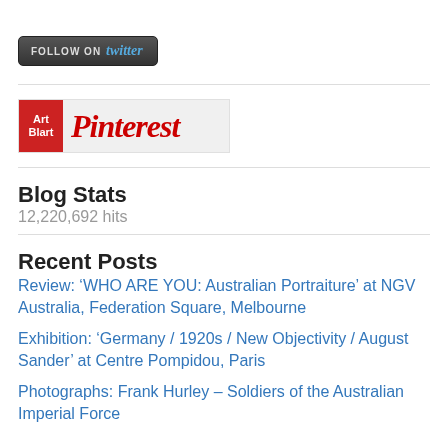[Figure (logo): Follow on Twitter button with dark grey background, white uppercase 'FOLLOW ON' text and blue italic 'twitter' text]
[Figure (logo): Art Blart Pinterest banner: red Art Blart square logo on left, red cursive Pinterest logo text on grey background]
Blog Stats
12,220,692 hits
Recent Posts
Review: ‘WHO ARE YOU: Australian Portraiture’ at NGV Australia, Federation Square, Melbourne
Exhibition: ‘Germany / 1920s / New Objectivity / August Sander’ at Centre Pompidou, Paris
Photographs: Frank Hurley – Soldiers of the Australian Imperial Force